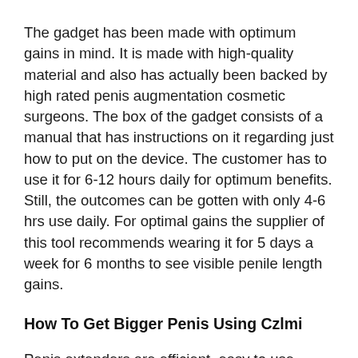The gadget has been made with optimum gains in mind. It is made with high-quality material and also has actually been backed by high rated penis augmentation cosmetic surgeons. The box of the gadget consists of a manual that has instructions on it regarding just how to put on the device. The customer has to use it for 6-12 hours daily for optimum benefits. Still, the outcomes can be gotten with only 4-6 hrs use daily. For optimal gains the supplier of this tool recommends wearing it for 5 days a week for 6 months to see visible penile length gains.
How To Get Bigger Penis Using Czlmi
Penis extenders are efficient, easy to use